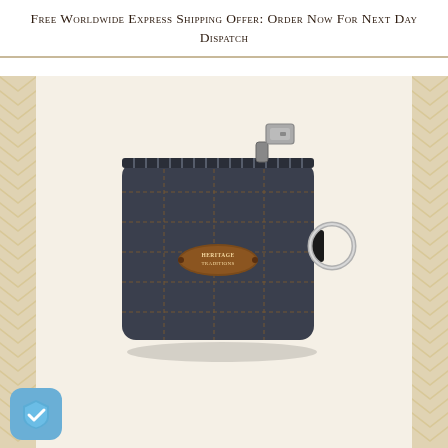Free Worldwide Express Shipping Offer: Order Now For Next Day Dispatch
[Figure (photo): A dark navy/charcoal tweed wool coin purse with brown windowpane check pattern. Has a metal zip across the top with a silver zipper pull tab, a key ring attached to the right side via a black fabric loop, and a brown oval leather Heritage Traditions logo badge in the center of the front face.]
[Figure (logo): Blue shield trust/security badge with a white checkmark in the lower left corner of the page.]